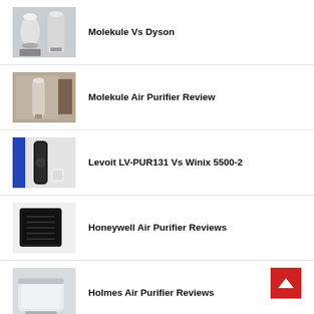Molekule Vs Dyson
Molekule Air Purifier Review
Levoit LV-PUR131 Vs Winix 5500-2
Honeywell Air Purifier Reviews
Holmes Air Purifier Reviews